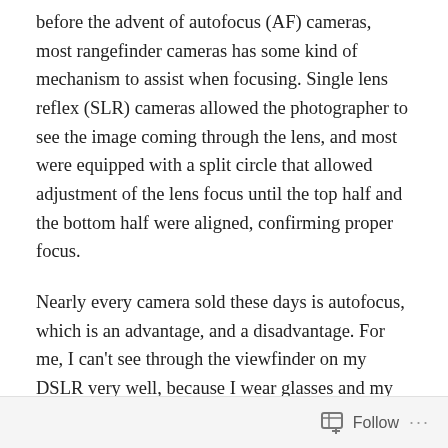before the advent of autofocus (AF) cameras, most rangefinder cameras has some kind of mechanism to assist when focusing. Single lens reflex (SLR) cameras allowed the photographer to see the image coming through the lens, and most were equipped with a split circle that allowed adjustment of the lens focus until the top half and the bottom half were aligned, confirming proper focus.
Nearly every camera sold these days is autofocus, which is an advantage, and a disadvantage. For me, I can't see through the viewfinder on my DSLR very well, because I wear glasses and my eyes are tired. I don't think I could focus manually if I had to… So AF is how I focus when using my camera, and for that I'm really grateful. But AF
Follow ···